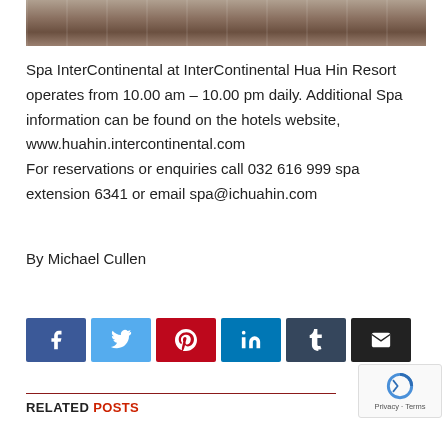[Figure (photo): Top portion of an interior photo, likely a spa or hotel lobby with wooden/warm tones]
Spa InterContinental at InterContinental Hua Hin Resort operates from 10.00 am – 10.00 pm daily. Additional Spa information can be found on the hotels website, www.huahin.intercontinental.com
For reservations or enquiries call 032 616 999 spa extension 6341 or email spa@ichuahin.com
By Michael Cullen
[Figure (infographic): Social sharing buttons: Facebook, Twitter, Pinterest, LinkedIn, Tumblr, Email]
RELATED POSTS